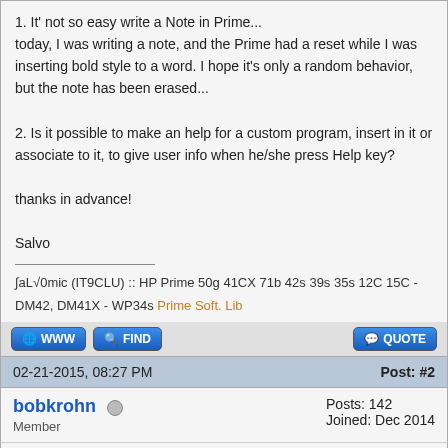1. It' not so easy write a Note in Prime...
today, I was writing a note, and the Prime had a reset while I was inserting bold style to a word. I hope it's only a random behavior, but the note has been erased...

2. Is it possible to make an help for a custom program, insert in it or associate to it, to give user info when he/she press Help key?

thanks in advance!

Salvo
∫aL√0mic (IT9CLU) :: HP Prime 50g 41CX 71b 42s 39s 35s 12C 15C - DM42, DM41X - WP34s Prime Soft. Lib
02-21-2015, 08:27 PM
Post: #2
bobkrohn
Member
Posts: 142
Joined: Dec 2014
RE: Notes and help
It's not YOU doing something wrong.